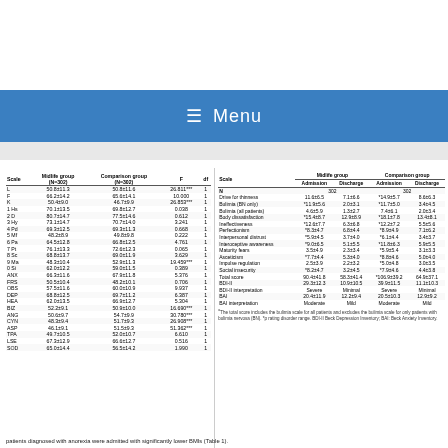Menu
| Scale | Midlife group (N=302) | Comparison group (N=302) | F | df |
| --- | --- | --- | --- | --- |
| L | 50.8±11.3 | 50.8±11.6 | 26.811*** | 1 |
| F | 66.2±14.2 | 65.6±14.1 | 10.000 | 1 |
| K | 50.4±9.0 | 46.7±9.9 | 26.853*** | 1 |
| 1 Hs | 70.1±13.5 | 69.8±12.7 | 0.038 | 1 |
| 2 D | 80.7±14.7 | 77.5±14.6 | 0.612 | 1 |
| 3 Hy | 73.1±14.7 | 70.7±14.0 | 3.241 | 1 |
| 4 Pd | 69.3±12.5 | 69.3±11.3 | 0.668 | 1 |
| 5 Mf | 48.2±8.9 | 49.8±9.8 | 0.222 | 1 |
| 6 Pa | 64.5±12.8 | 66.8±12.5 | 4.761 | 1 |
| 7 Pt | 76.1±13.3 | 72.6±12.3 | 0.065 | 1 |
| 8 Sc | 68.8±13.7 | 69.0±11.9 | 3.629 | 1 |
| 9 Ma | 48.3±10.4 | 52.9±11.3 | 19.459*** | 1 |
| 0 Si | 62.0±12.2 | 59.0±11.5 | 0.389 | 1 |
| ANX | 66.3±11.6 | 67.9±11.8 | 5.376 | 1 |
| FRS | 50.5±10.4 | 48.2±10.1 | 0.706 | 1 |
| OBS | 57.5±11.6 | 60.0±10.9 | 9.937 | 1 |
| DEP | 68.8±12.5 | 69.7±11.2 | 6.387 | 1 |
| HEA | 62.0±13.5 | 66.9±12.7 | 5.304 | 1 |
| BIZ | 52.2±9.1 | 50.9±10.0 | 16.690*** | 1 |
| ANG | 50.6±9.7 | 54.7±9.9 | 30.780*** | 1 |
| CYN | 48.3±9.4 | 51.7±9.3 | 26.908*** | 1 |
| ASP | 46.1±9.1 | 51.5±9.3 | 51.362*** | 1 |
| TPA | 49.7±10.5 | 52.0±10.7 | 6.610 | 1 |
| LSE | 67.3±12.9 | 66.6±12.7 | 0.516 | 1 |
| SOD | 65.0±14.4 | 56.5±14.2 | 1.990 | 1 |
| Scale | Midlife group Admission | Midlife group Discharge | Comparison group Admission | Comparison group Discharge |
| --- | --- | --- | --- | --- |
| N | 302 |  | 302 |  |
| Drive for thinness | 11.6±6.5 | 7.1±6.6 | *14.9±5.7 | 8.6±6.3 |
| Bulimia (BN only) | *11.9±5.6 | 2.0±3.1 | *11.7±5.0 | 3.4±4.5 |
| Bulimia (all patients) | 4.6±5.9 | 1.3±2.7 | 7.4±6.1 | 2.0±3.4 |
| Body dissatisfaction | *15.4±8.7 | 12.9±8.9 | *18.1±7.8 | 13.4±8.1 |
| Ineffectiveness | *12.6±7.7 | 6.3±6.8 | *12.2±7.2 | 5.5±5.6 |
| Perfectionism | *8.3±4.7 | 6.8±4.4 | *8.9±4.9 | 7.1±6.2 |
| Interpersonal distrust | *5.9±4.5 | 3.7±4.0 | *6.1±4.4 | 3.4±3.7 |
| Interoceptive awareness | *9.0±6.5 | 5.1±5.5 | *11.8±6.3 | 5.9±5.5 |
| Maturity fears | 3.5±4.9 | 2.3±3.4 | *5.9±5.4 | 3.1±3.3 |
| Asceticism | *7.7±4.4 | 5.3±4.0 | *8.8±4.6 | 5.0±4.0 |
| Impulse regulation | 2.5±3.9 | 2.2±3.2 | *5.0±4.8 | 3.0±3.5 |
| Social insecurity | *8.2±4.7 | 3.2±4.5 | *7.9±4.6 | 4.4±3.8 |
| Total score | 90.4±41.8 | 58.3±41.4 | *106.9±39.2 | 64.9±37.1 |
| BDI-II | 29.3±12.3 | 10.9±10.5 | 39.9±11.5 | 11.1±10.3 |
| BDI-II interpretation | Severe | Minimal | Severe | Minimal |
| BAI | 20.4±11.9 | 12.2±9.4 | 20.5±10.3 | 12.9±9.2 |
| BAI interpretation | Moderate | Mild | Moderate | Mild |
The total score includes the bulimia scale for all patients and excludes the bulimia scale for only patients with bulimia nervosa (BN). *p rating disorder range. BDI-II Beck Depression Inventory; BAI: Beck Anxiety Inventory.
patients diagnosed with anorexia were admitted with significantly lower BMIs (Table 1).